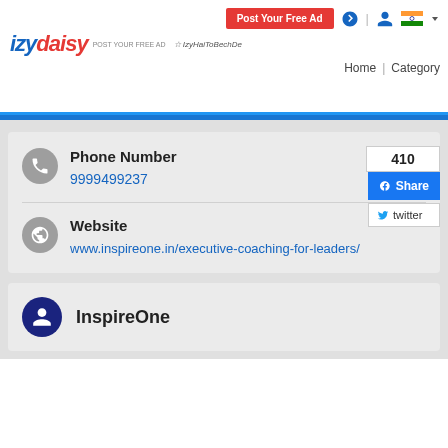izydaisy – Post Your Free Ad | Home | Category
Phone Number
9999499237
Website
www.inspireone.in/executive-coaching-for-leaders/
InspireOne